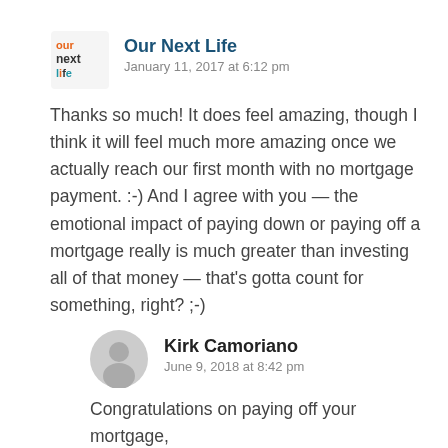[Figure (logo): Our Next Life blog logo with colorful text]
Our Next Life
January 11, 2017 at 6:12 pm
Thanks so much! It does feel amazing, though I think it will feel much more amazing once we actually reach our first month with no mortgage payment. :-) And I agree with you — the emotional impact of paying down or paying off a mortgage really is much greater than investing all of that money — that's gotta count for something, right? ;-)
[Figure (illustration): Generic user avatar circle for Kirk Camoriano]
Kirk Camoriano
June 9, 2018 at 8:42 pm
Congratulations on paying off your mortgage,